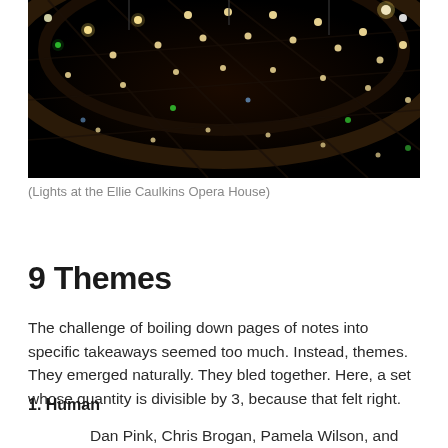[Figure (photo): Photograph of stage lights at the Ellie Caulkins Opera House, showing a dark ceiling with many bright stage lighting fixtures and green and white lights arranged in a grid pattern.]
(Lights at the Ellie Caulkins Opera House)
9 Themes
The challenge of boiling down pages of notes into specific takeaways seemed too much. Instead, themes. They emerged naturally. They bled together. Here, a set whose quantity is divisible by 3, because that felt right.
1. Human
Dan Pink, Chris Brogan, Pamela Wilson, and several others all touched on the human aspect of